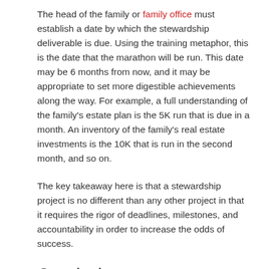The head of the family or family office must establish a date by which the stewardship deliverable is due. Using the training metaphor, this is the date that the marathon will be run. This date may be 6 months from now, and it may be appropriate to set more digestible achievements along the way. For example, a full understanding of the family's estate plan is the 5K run that is due in a month. An inventory of the family's real estate investments is the 10K that is run in the second month, and so on.
The key takeaway here is that a stewardship project is no different than any other project in that it requires the rigor of deadlines, milestones, and accountability in order to increase the odds of success.
Conclusion